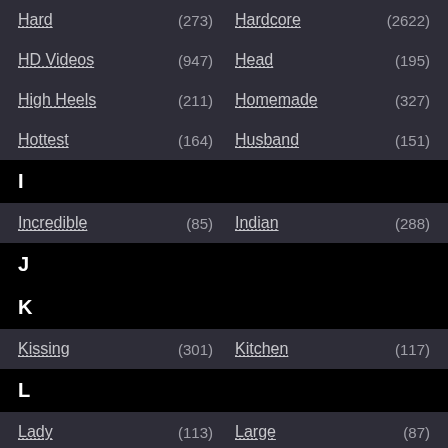Hard (273)
Hardcore (2622)
HD Videos (947)
Head (195)
High Heels (211)
Homemade (327)
Hottest (164)
Husband (151)
I
Incredible (85)
Indian (288)
J
K
Kissing (301)
Kitchen (117)
L
Lady (113)
Large (87)
Latin (100)
Latina (549)
Lesbian (874)
Licking (127)